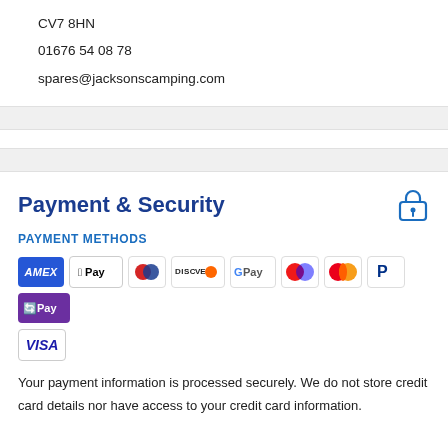CV7 8HN
01676 54 08 78
spares@jacksonscamping.com
Payment & Security
PAYMENT METHODS
[Figure (other): Payment method icons: Amex, Apple Pay, Diners Club, Discover, Google Pay, Maestro, Mastercard, PayPal, oPay, Visa]
Your payment information is processed securely. We do not store credit card details nor have access to your credit card information.